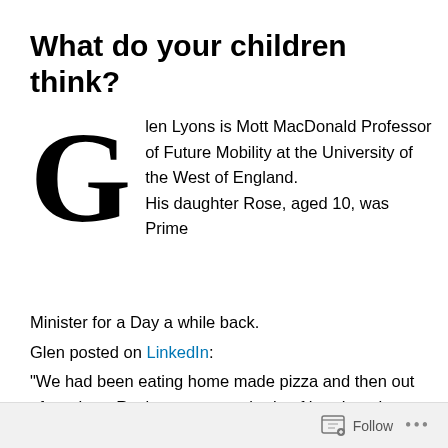What do your children think?
Glen Lyons is Mott MacDonald Professor of Future Mobility at the University of the West of England. His daughter Rose, aged 10, was Prime Minister for a Day a while back. Glen posted on LinkedIn: “We had been eating home made pizza and then out of nowhere Rosie gave me a tirade of her thoughts and frustrations about climate change. I sat there thinking ‘where did this come from? What she is saying is so on message… a wise head on little shoulders’. I don’t need